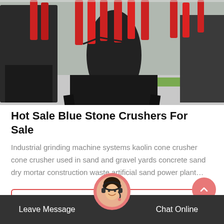[Figure (photo): Industrial stone crusher machines in a factory setting. Multiple large dark machinery units with red hydraulic cylinders on top, standing on metal frames. Green-painted floor visible in background.]
Hot Sale Blue Stone Crushers For Sale
Industrial grinding machine systems kaolin cone crusher cone crusher used in sand and gravel yards concrete sand dry mortar construction waste artificial sand power plant…
Get Price
Leave Message
Chat Online